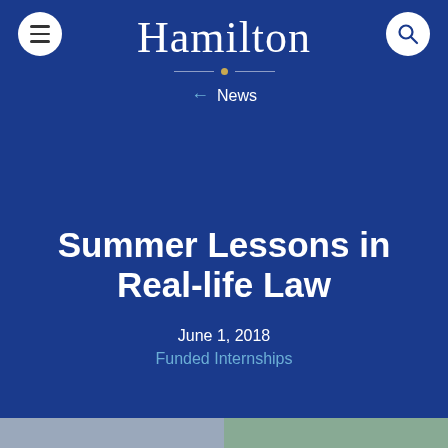Hamilton
← News
Summer Lessons in Real-life Law
June 1, 2018
Funded Internships
[Figure (photo): Two side-by-side photos at the bottom of the page, partially cropped]